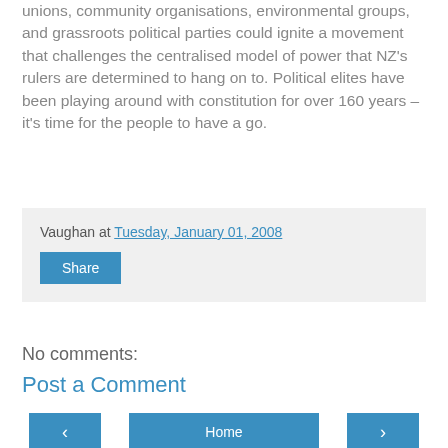unions, community organisations, environmental groups, and grassroots political parties could ignite a movement that challenges the centralised model of power that NZ's rulers are determined to hang on to. Political elites have been playing around with constitution for over 160 years – it's time for the people to have a go.
Vaughan at Tuesday, January 01, 2008
Share
No comments:
Post a Comment
Home
View web version
Powered by Blogger.